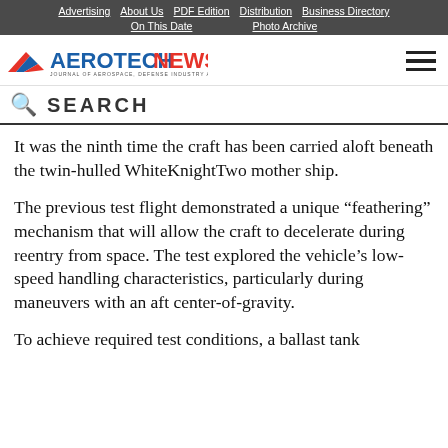Advertising | About Us | PDF Edition | Distribution | Business Directory | On This Date | Photo Archive
[Figure (logo): AerotechNews logo — journal of aerospace, defense industry and veterans news]
SEARCH
It was the ninth time the craft has been carried aloft beneath the twin-hulled WhiteKnightTwo mother ship.
The previous test flight demonstrated a unique “feathering” mechanism that will allow the craft to decelerate during reentry from space. The test explored the vehicle’s low-speed handling characteristics, particularly during maneuvers with an aft center-of-gravity.
To achieve required test conditions, a ballast tank...